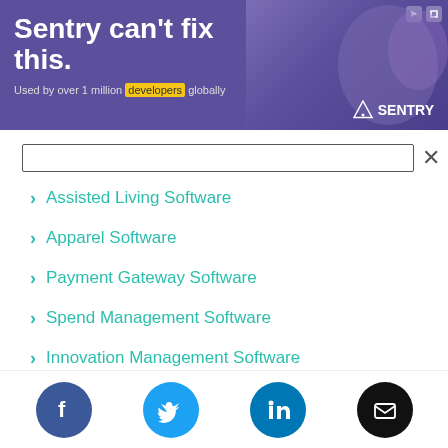[Figure (screenshot): Sentry advertisement banner with purple background. Text reads 'Sentry can't fix this.' and 'Used by over 1 million developers globally'. Sentry logo on right side.]
Assisted Living Software
Apparel Software
Payment Gateway Software
Spend Management Software
Innovation Management Software
Genealogy Software
Social share icons: Facebook, Twitter, LinkedIn, Email